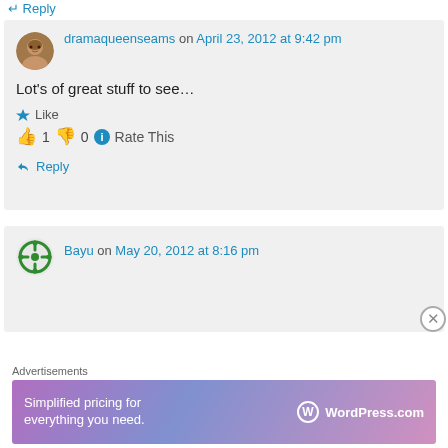↵ Reply
dramaqueenseams on April 23, 2012 at 9:42 pm
Lot's of great stuff to see…
★ Like
👍 1 👎 0 ℹ Rate This
↵ Reply
Bayu on May 20, 2012 at 8:16 pm
Advertisements
Simplified pricing for everything you need. WordPress.com